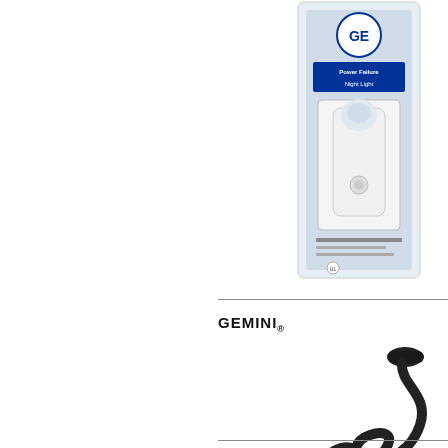[Figure (photo): GE Power Failure Night Light product in packaging, white device]
Failure Light: E... Else
[Figure (photo): Gemini brand USB LED flexible notebook light, black gooseneck cable with USB connector]
GEMINI®
USB LED NOTE... LIGHT: Electro...
[Figure (photo): Gizmo Dorks eBook light (Black) - partially visible]
Gizmo Dorks eB... Light (Black) fo...